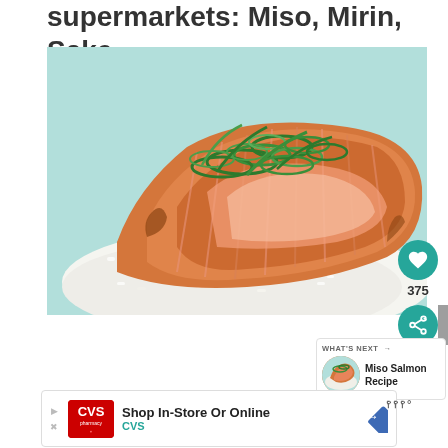supermarkets: Miso, Mirin, Sake.
[Figure (photo): A glazed salmon fillet topped with sliced green onions, served over white rice on a light green plate.]
375
WHAT'S NEXT → Miso Salmon Recipe
Shop In-Store Or Online CVS